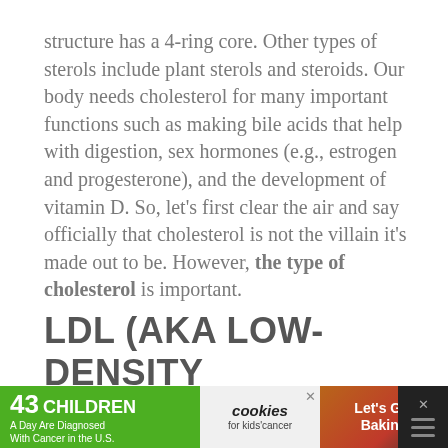structure has a 4-ring core. Other types of sterols include plant sterols and steroids. Our body needs cholesterol for many important functions such as making bile acids that help with digestion, sex hormones (e.g., estrogen and progesterone), and the development of vitamin D. So, let's first clear the air and say officially that cholesterol is not the villain it's made out to be. However, the type of cholesterol is important.
LDL (AKA LOW-DENSITY LIPOPROTEIN) AND VLDL (AKA VERY-LOW-DENSITY LIPOPROTEIN)
[Figure (other): Advertisement banner at the bottom of the page. Green section: '43 CHILDREN A Day Are Diagnosed With Cancer in the U.S.' White oval section: 'cookies for kids cancer' logo. Red/brown section: 'Let's Get Baking' text with cookie image. Close buttons (X) visible.]